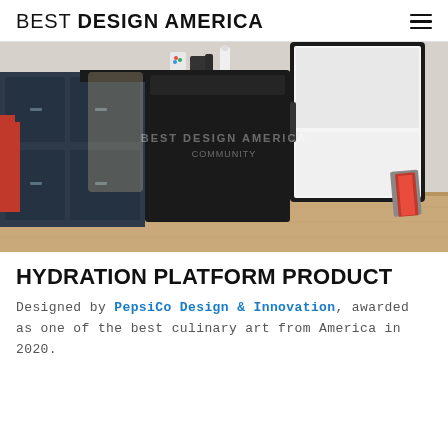BEST DESIGN AMERICA
[Figure (photo): A kitchen scene showing two modern appliances — a tall dark/matte black unit and a white unit with black frame — placed side by side on a wooden floor. Background shows navy blue cabinetry, a red chair, and various kitchen items on the counter. A watermark reads 'BEST DESIGN AMERICA COMMUNITY'.]
HYDRATION PLATFORM PRODUCT
Designed by PepsiCo Design & Innovation, awarded as one of the best culinary art from America in 2020.